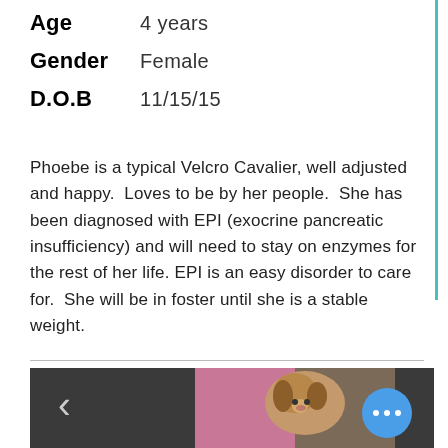Age   4 years
Gender   Female
D.O.B   11/15/15
Phoebe is a typical Velcro Cavalier, well adjusted and happy.  Loves to be by her people.  She has been diagnosed with EPI (exocrine pancreatic insufficiency) and will need to stay on enzymes for the rest of her life. EPI is an easy disorder to care for.  She will be in foster until she is a stable weight.
[Figure (photo): Photo of a Cavalier King Charles Spaniel dog sitting, with dark background showing a carousel image viewer with left chevron arrow and a blue dots/more button]